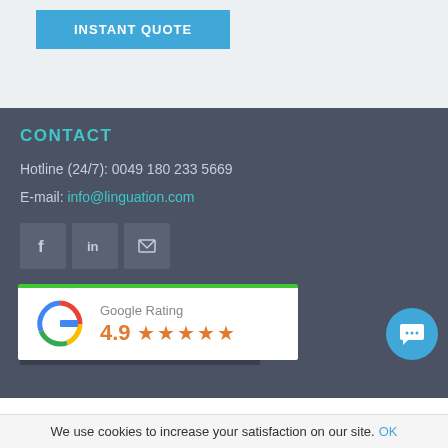[Figure (other): Blue 'INSTANT QUOTE' button on light gray background]
CONTACT
Hotline (24/7): 0049 180 233 5669
E-mail: info@linguation.com
[Figure (other): Social media icons: Facebook, LinkedIn, and one more icon]
TRANSLATION TRACKING
Order nr.
[Figure (other): Google Rating card showing 4.9 stars with Google G logo and green top border]
[Figure (other): Blue circular chat button]
We use cookies to increase your satisfaction on our site. OK